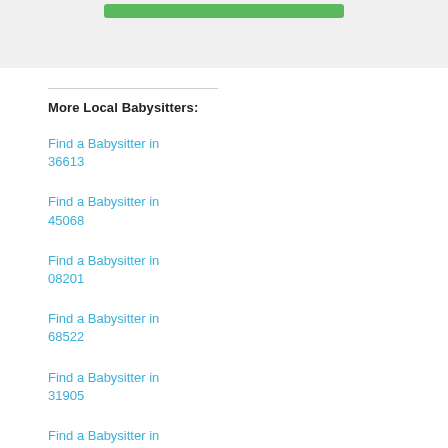[Figure (other): Top section showing a green button or bar on a light gray background]
More Local Babysitters:
Find a Babysitter in 36613
Find a Babysitter in 45068
Find a Babysitter in 08201
Find a Babysitter in 68522
Find a Babysitter in 31905
Find a Babysitter in 97024